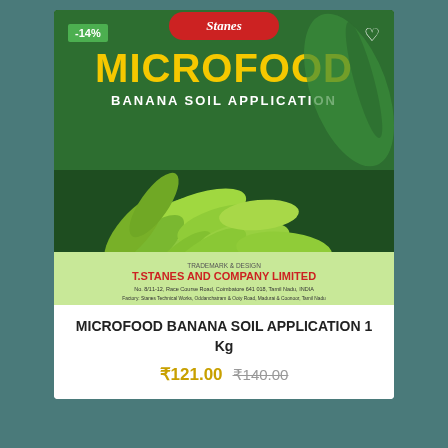[Figure (photo): Product photo of Stanes Microfood Banana Soil Application 1 Kg box, showing green bananas and company branding. Discount badge showing -14% in top left corner.]
MICROFOOD BANANA SOIL APPLICATION 1 Kg
₹121.00  ₹140.00